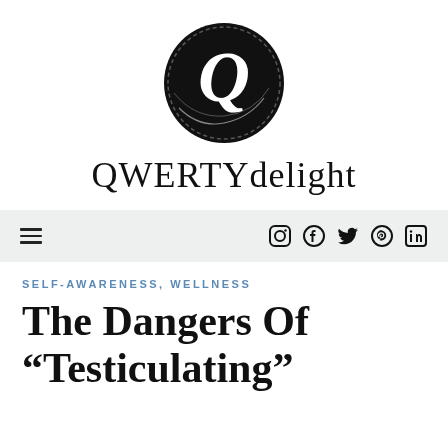[Figure (logo): QWERTYdelight circular logo with large Q letter inside a hand-drawn circle]
QWERTYdelight
[Figure (other): Navigation bar with hamburger menu icon on left and social media icons (Instagram, Facebook, Twitter, Pinterest, LinkedIn) on right]
SELF-AWARENESS, WELLNESS
The Dangers Of “Testiculating”